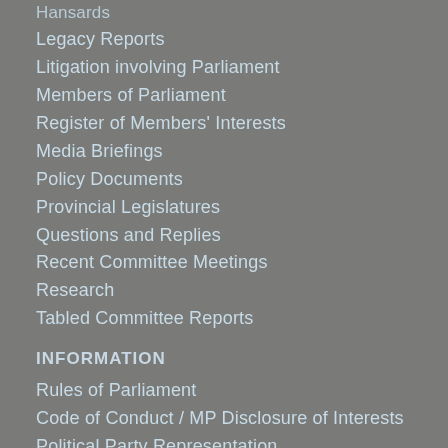Hansards
Legacy Reports
Litigation involving Parliament
Members of Parliament
Register of Members' Interests
Media Briefings
Policy Documents
Provincial Legislatures
Questions and Replies
Recent Committee Meetings
Research
Tabled Committee Reports
INFORMATION
Rules of Parliament
Code of Conduct / MP Disclosure of Interests
Political Party Representation
Legislative Process & Government
Parliamentary Programme
LINKS
Useful Links
People's Assembly